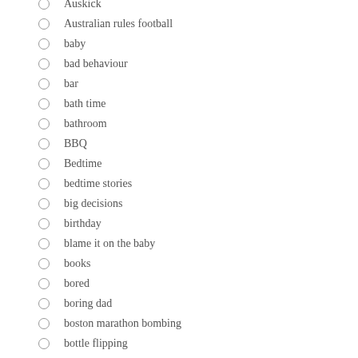Auskick
Australian rules football
baby
bad behaviour
bar
bath time
bathroom
BBQ
Bedtime
bedtime stories
big decisions
birthday
blame it on the baby
books
bored
boring dad
boston marathon bombing
bottle flipping